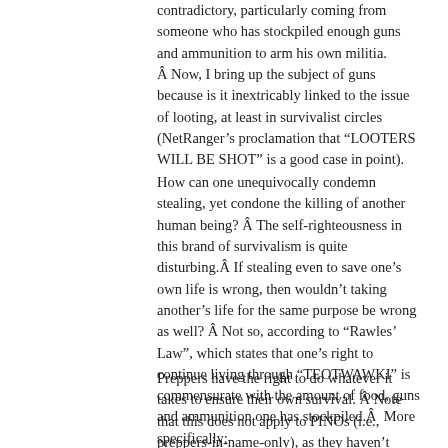contradictory, particularly coming from someone who has stockpiled enough guns and ammunition to arm his own militia.  Now, I bring up the subject of guns because is it inextricably linked to the issue of looting, at least in survivalist circles (NetRanger's proclamation that "LOOTERS WILL BE SHOT" is a good case in point).
How can one unequivocally condemn stealing, yet condone the killing of another human being?  The self-righteousness in this brand of survivalism is quite disturbing. If stealing even to save one's own life is wrong, then wouldn't taking another's life for the same purpose be wrong as well?  Not so, according to “Rawles’ Law”, which states that one’s right to continue living through “TEOTWAWKI” is commensurate with the amount of food, guns and ammunition one has stockpiled.  More specifically:
Preppers have the right to do whatever it takes to ensure their own survival.  Note that this does not apply to PINOs (i.e., preppers-in-name-only), as they haven’t stockpiled much of anything.